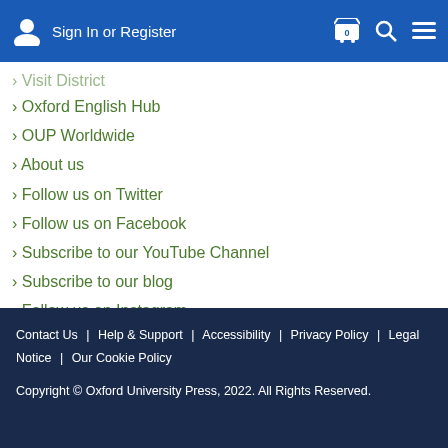Sign In or Register
Oxford English Hub
OUP Worldwide
About us
Follow us on Twitter
Follow us on Facebook
Subscribe to our YouTube Channel
Subscribe to our blog
Follow us on Instagram
Follow us on LinkedIn
Catalogue
Oxford Teachers' Club
Learning Resources
Contact Us | Help & Support | Accessibility | Privacy Policy | Legal Notice | Our Cookie Policy
Copyright © Oxford University Press, 2022. All Rights Reserved.